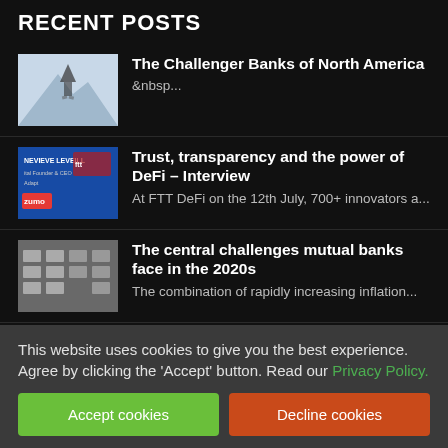RECENT POSTS
The Challenger Banks of North America
&nbsp...
Trust, transparency and the power of DeFi – Interview
At FTT DeFi on the 12th July, 700+ innovators a...
The central challenges mutual banks face in the 2020s
The combination of rapidly increasing inflation...
This website uses cookies to give you the best experience. Agree by clicking the 'Accept' button. Read our Privacy Policy.
Accept cookies
Decline cookies